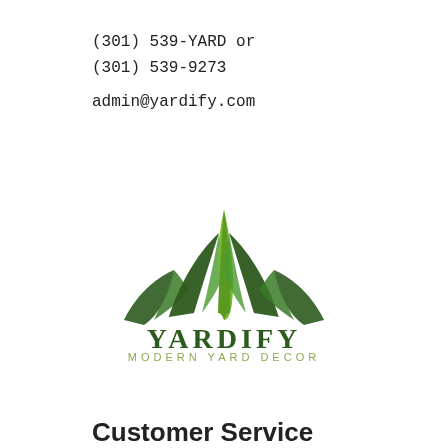(301) 539-YARD or
(301) 539-9273
admin@yardify.com
[Figure (logo): Yardify logo: green lotus-like leaf arrangement above the text YARDIFY in dark green serif capitals, with MODERN YARD DECOR in spaced light olive capitals below]
Customer Service